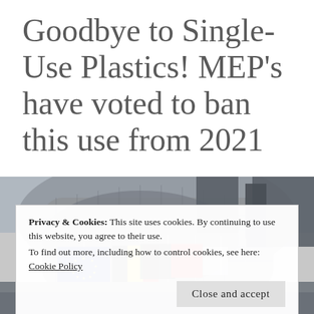Goodbye to Single-Use Plastics! MEP’s have voted to ban this use from 2021
[Figure (photo): Photograph of the European Parliament building in Strasbourg with EU and member state flags visible in the foreground.]
Privacy & Cookies: This site uses cookies. By continuing to use this website, you agree to their use.
To find out more, including how to control cookies, see here: Cookie Policy